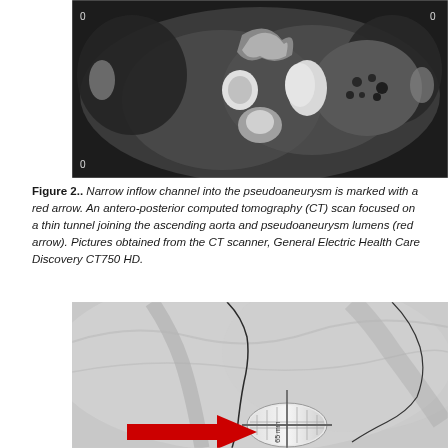[Figure (photo): CT scan image showing cross-section of chest/abdomen with pseudoaneurysm; grayscale axial CT scan]
Figure 2.. Narrow inflow channel into the pseudoaneurysm is marked with a red arrow. An antero-posterior computed tomography (CT) scan focused on a thin tunnel joining the ascending aorta and pseudoaneurysm lumens (red arrow). Pictures obtained from the CT scanner, General Electric Health Care Discovery CT750 HD.
[Figure (photo): Fluoroscopy/angiography image showing a medical device (stent/balloon) being deployed, with a red arrow pointing to the device. Catheter wires and medical instruments visible.]